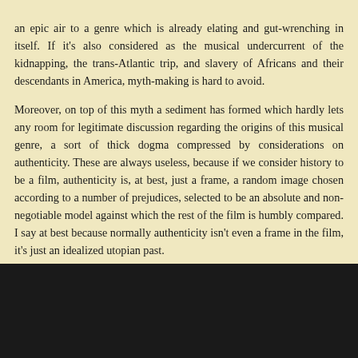an epic air to a genre which is already elating and gut-wrenching in itself. If it's also considered as the musical undercurrent of the kidnapping, the trans-Atlantic trip, and slavery of Africans and their descendants in America, myth-making is hard to avoid.
Moreover, on top of this myth a sediment has formed which hardly lets any room for legitimate discussion regarding the origins of this musical genre, a sort of thick dogma compressed by considerations on authenticity. These are always useless, because if we consider history to be a film, authenticity is, at best, just a frame, a random image chosen according to a number of prejudices, selected to be an absolute and non-negotiable model against which the rest of the film is humbly compared. I say at best because normally authenticity isn't even a frame in the film, it's just an idealized utopian past.
[Figure (photo): Dark/black rectangular image area at the bottom of the page]